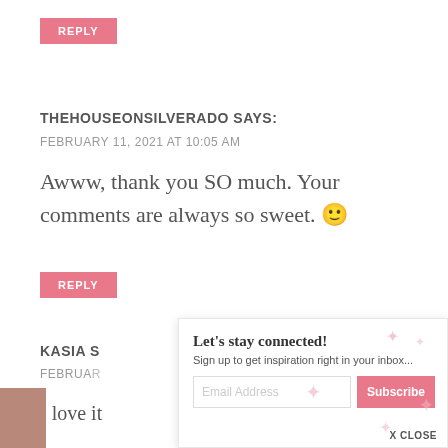REPLY
THEHOUSEONSILVERADO SAYS:
FEBRUARY 11, 2021 AT 10:05 AM
Awww, thank you SO much. Your comments are always so sweet. 🙂
REPLY
KASIA S...
FEBRUA...
I love it...
Let's stay connected! Sign up to get inspiration right in your inbox...